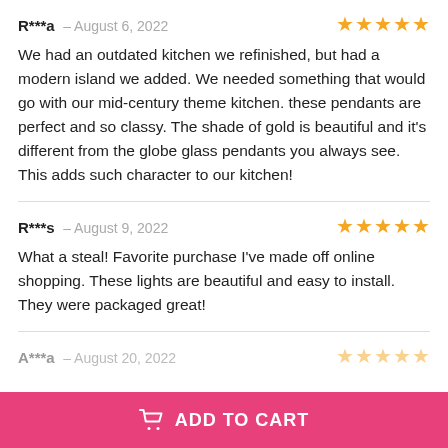R***a – August 6, 2022  ★★★★★
We had an outdated kitchen we refinished, but had a modern island we added. We needed something that would go with our mid-century theme kitchen. these pendants are perfect and so classy. The shade of gold is beautiful and it's different from the globe glass pendants you always see. This adds such character to our kitchen!
R***s – August 9, 2022  ★★★★★
What a steal! Favorite purchase I've made off online shopping. These lights are beautiful and easy to install. They were packaged great!
A***a – August 20, 2022  ★★★★★
ADD TO CART